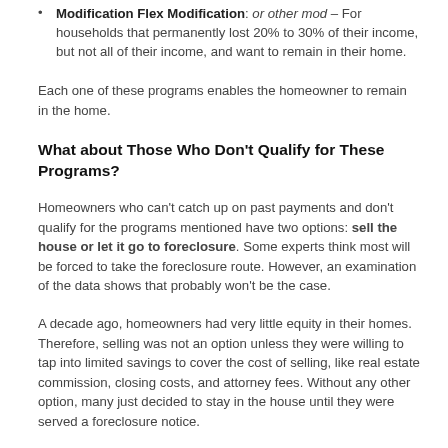Modification Flex Modification: or other mod – For households that permanently lost 20% to 30% of their income, but not all of their income, and want to remain in their home.
Each one of these programs enables the homeowner to remain in the home.
What about Those Who Don't Qualify for These Programs?
Homeowners who can't catch up on past payments and don't qualify for the programs mentioned have two options: sell the house or let it go to foreclosure. Some experts think most will be forced to take the foreclosure route. However, an examination of the data shows that probably won't be the case.
A decade ago, homeowners had very little equity in their homes. Therefore, selling was not an option unless they were willing to tap into limited savings to cover the cost of selling, like real estate commission, closing costs, and attorney fees. Without any other option, many just decided to stay in the house until they were served a foreclosure notice.